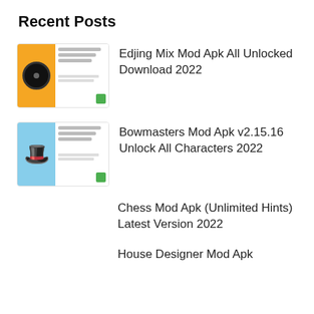Recent Posts
[Figure (screenshot): Thumbnail image for Edjing Mix Mod Apk post showing a disc on orange background with app info on white side]
Edjing Mix Mod Apk All Unlocked Download 2022
[Figure (screenshot): Thumbnail image for Bowmasters Mod Apk post showing a Mario-like character on blue background with app info on white side]
Bowmasters Mod Apk v2.15.16 Unlock All Characters 2022
Chess Mod Apk (Unlimited Hints) Latest Version 2022
House Designer Mod Apk